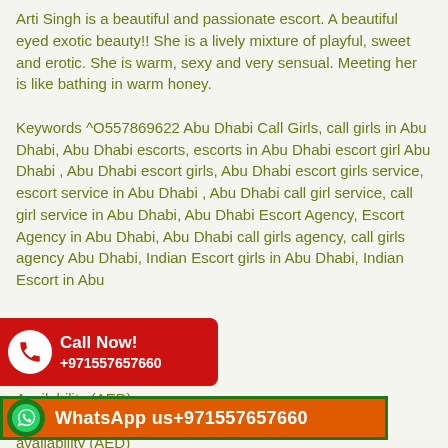Arti Singh is a beautiful and passionate escort. A beautiful eyed exotic beauty!! She is a lively mixture of playful, sweet and erotic. She is warm, sexy and very sensual. Meeting her is like bathing in warm honey.

Keywords ^O557869622 Abu Dhabi Call Girls, call girls in Abu Dhabi, Abu Dhabi escorts, escorts in Abu Dhabi escort girl Abu Dhabi , Abu Dhabi escort girls, Abu Dhabi escort girls service, escort service in Abu Dhabi , Abu Dhabi call girl service, call girl service in Abu Dhabi, Abu Dhabi Escort Agency, Escort Agency in Abu Dhabi, Abu Dhabi call girls agency, call girls agency Abu Dhabi, Indian Escort girls in Abu Dhabi, Indian Dhabi, Indian Escort in Abu
[Figure (infographic): Red 'Call Now!' banner with phone icon and number +971557657660]
Availability (AED)
1 Hours 1000 (AED)
[Figure (infographic): Orange WhatsApp banner with green WhatsApp icon and text 'WhatsApp us+971557657660']
availability (AED)